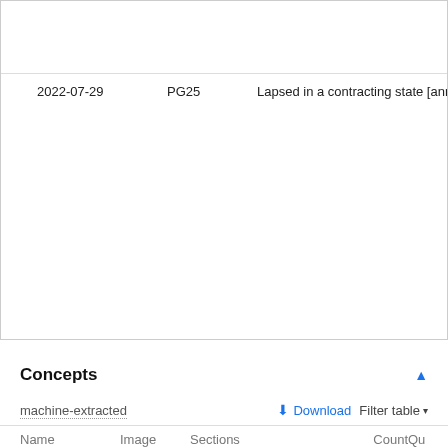| Date | Code | Description |
| --- | --- | --- |
| 2022-07-29 | PG25 | Lapsed in a contracting state [announced via… |
Concepts
machine-extracted
| Name | Image | Sections | Count | Qu |
| --- | --- | --- | --- | --- |